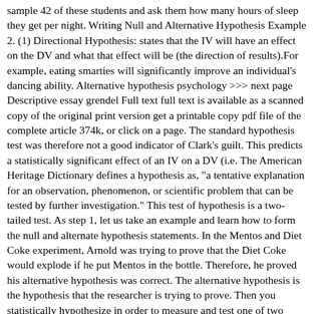sample 42 of these students and ask them how many hours of sleep they get per night. Writing Null and Alternative Hypothesis Example 2. (1) Directional Hypothesis: states that the IV will have an effect on the DV and what that effect will be (the direction of results).For example, eating smarties will significantly improve an individual's dancing ability. Alternative hypothesis psychology >>> next page Descriptive essay grendel Full text full text is available as a scanned copy of the original print version get a printable copy pdf file of the complete article 374k, or click on a page. The standard hypothesis test was therefore not a good indicator of Clark's guilt. This predicts a statistically significant effect of an IV on a DV (i.e. The American Heritage Dictionary defines a hypothesis as, "a tentative explanation for an observation, phenomenon, or scientific problem that can be tested by further investigation." This test of hypothesis is a two-tailed test. As step 1, let us take an example and learn how to form the null and alternate hypothesis statements. In the Mentos and Diet Coke experiment, Arnold was trying to prove that the Diet Coke would explode if he put Mentos in the bottle. Therefore, he proved his alternative hypothesis was correct. The alternative hypothesis is the hypothesis that the researcher is trying to prove. Then you statistically hypothesize in order to measure and test one of two hypotheses: the null, or H0, which represents non-effect (i.e. Now, let's see an alternative hypothesis example for each type: Directional: Attending more lectures will result in improved test scores among students. It is summarized here because it is very